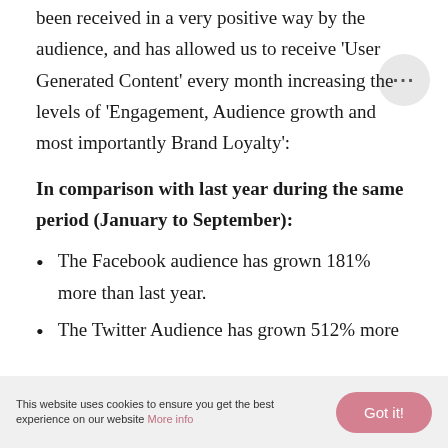been received in a very positive way by the audience, and has allowed us to receive 'User Generated Content' every month increasing the levels of 'Engagement, Audience growth and most importantly Brand Loyalty':
In comparison with last year during the same period (January to September):
The Facebook audience has grown 181% more than last year.
The Twitter Audience has grown 512% more
This website uses cookies to ensure you get the best experience on our website More info